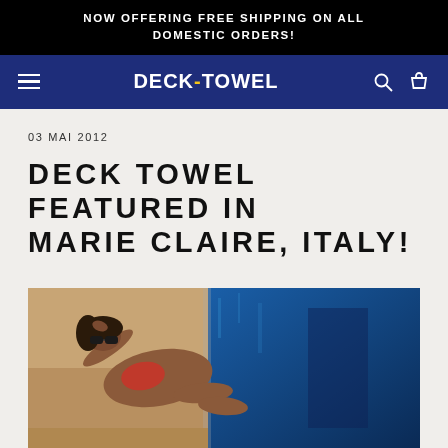NOW OFFERING FREE SHIPPING ON ALL DOMESTIC ORDERS!
DECK=TOWEL
03 MAI 2012
DECK TOWEL FEATURED IN MARIE CLAIRE, ITALY!
[Figure (photo): Woman with sunglasses lounging by a pool, partially visible at bottom of page, wearing red swimwear next to blue water]